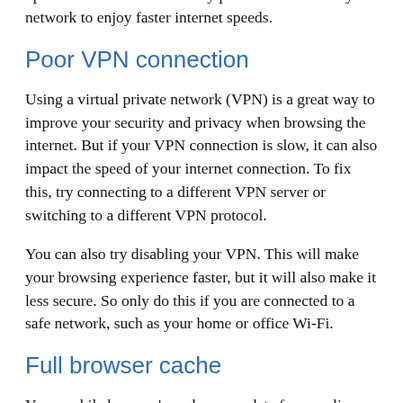updates. This will allow every phone connected to your network to enjoy faster internet speeds.
Poor VPN connection
Using a virtual private network (VPN) is a great way to improve your security and privacy when browsing the internet. But if your VPN connection is slow, it can also impact the speed of your internet connection. To fix this, try connecting to a different VPN server or switching to a different VPN protocol.
You can also try disabling your VPN. This will make your browsing experience faster, but it will also make it less secure. So only do this if you are connected to a safe network, such as your home or office Wi-Fi.
Full browser cache
Your mobile browser's cache saves data from earlier searches in order to display faster results of similar searches in the future. Although the cache does help